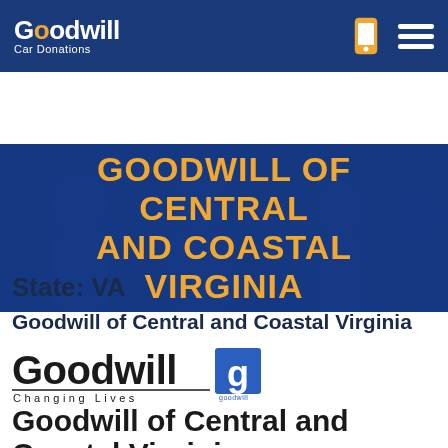Goodwill Car Donations [nav bar with logo, phone icon, menu icon]
GOODWILL OF CENTRAL AND COASTAL VIRGINIA
State: VA
Goodwill of Central and Coastal Virginia
[Figure (logo): Goodwill logo with 'Goodwill Changing Lives' text and square goodwill icon]
Goodwill of Central and Coastal Virginia